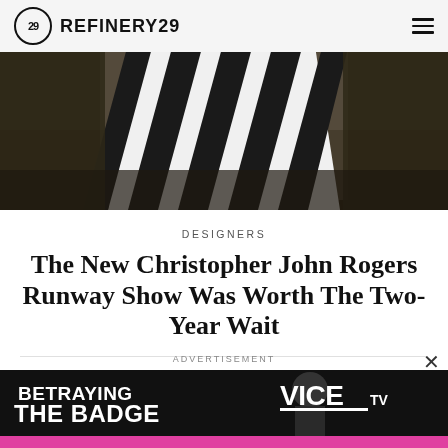REFINERY29
[Figure (photo): Fashion runway photo: model wearing black and white bold diagonal stripe oversized coat/jacket, partial view from shoulders up, dark background]
DESIGNERS
The New Christopher John Rogers Runway Show Was Worth The Two-Year Wait
IRINA GRECHKO   JUNE 8, 2022 5:51 PM
ADVERTISEMENT
[Figure (screenshot): Advertisement banner for 'Betraying The Badge' on VICE TV. Black and white image with bold text 'BETRAYING THE BADGE' on left and VICE TV logo on right, with figure in background.]